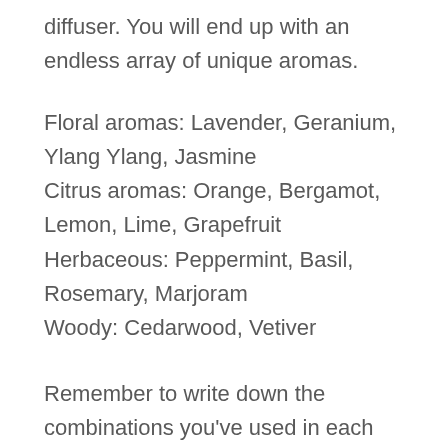diffuser. You will end up with an endless array of unique aromas.
Floral aromas: Lavender, Geranium, Ylang Ylang, Jasmine
Citrus aromas: Orange, Bergamot, Lemon, Lime, Grapefruit
Herbaceous: Peppermint, Basil, Rosemary, Marjoram
Woody: Cedarwood, Vetiver
Remember to write down the combinations you've used in each blend so that you can